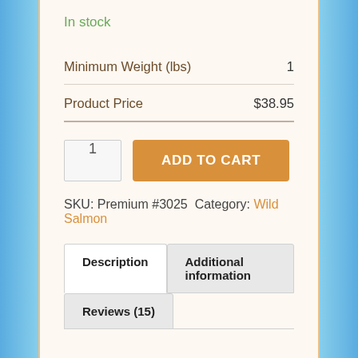In stock
| Minimum Weight (lbs) | 1 |
| Product Price | $38.95 |
1  ADD TO CART
SKU: Premium #3025 Category: Wild Salmon
Description  Additional information  Reviews (15)